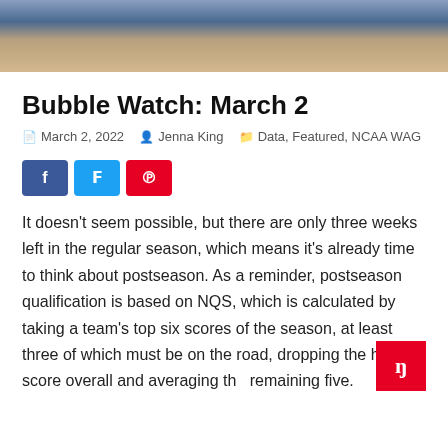[Figure (photo): Cropped photo showing legs/knees of athletes in blue uniforms seated on a bench, partial view from waist down]
Bubble Watch: March 2
March 2, 2022   Jenna King   Data, Featured, NCAA WAG
[Figure (infographic): Social share buttons: Facebook (blue), Twitter (cyan), Pinterest (red)]
It doesn’t seem possible, but there are only three weeks left in the regular season, which means it’s already time to think about postseason. As a reminder, postseason qualification is based on NQS, which is calculated by taking a team’s top six scores of the season, at least three of which must be on the road, dropping the highest score overall and averaging the remaining five.